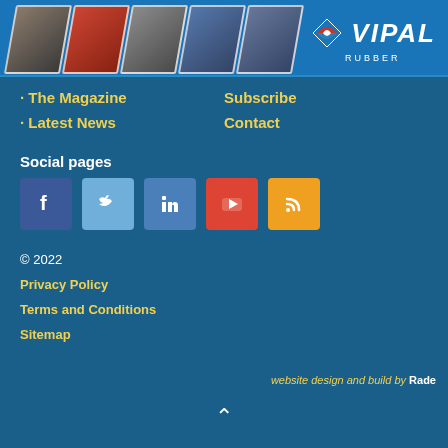[Figure (photo): Header banner with tire product strip images on the left and VIPAL RUBBER logo on the right, blue background]
The Magazine
Latest News
Subscribe
Contact
Social pages
[Figure (illustration): Row of social media icons: Facebook (dark blue), Twitter (light blue), LinkedIn (blue), YouTube (red), RSS (orange)]
© 2022
Privacy Policy
Terms and Conditions
Sitemap
website design and build by Rade